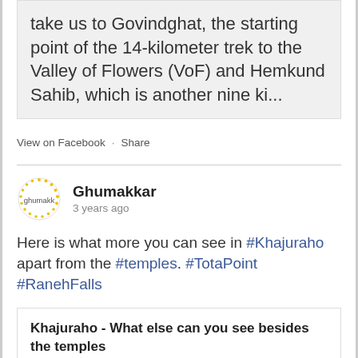take us to Govindghat, the starting point of the 14-kilometer trek to the Valley of Flowers (VoF) and Hemkund Sahib, which is another nine ki...
View on Facebook · Share
Ghumakkar
3 years ago
Here is what more you can see in #Khajuraho apart from the #temples. #TotaPoint #RanehFalls
Khajuraho - What else can you see besides the temples
www.ghumakkar.com